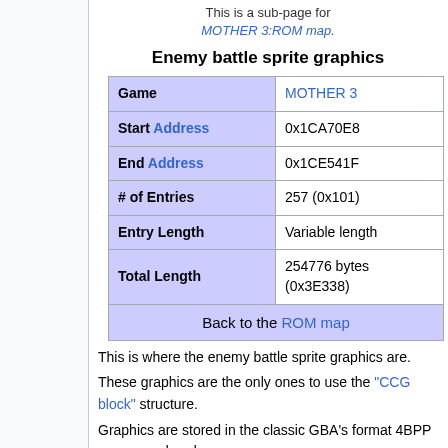This is a sub-page for MOTHER 3:ROM map.
Enemy battle sprite graphics
| Field | Value |
| --- | --- |
| Game | MOTHER 3 |
| Start Address | 0x1CA70E8 |
| End Address | 0x1CE541F |
| # of Entries | 257 (0x101) |
| Entry Length | Variable length |
| Total Length | 254776 bytes (0x3E338) |
| Back to the ROM map |  |
This is where the enemy battle sprite graphics are.
These graphics are the only ones to use the "CCG block" structure.
Graphics are stored in the classic GBA's format 4BPP reverse ordered.
Entries in this table are associated by th...